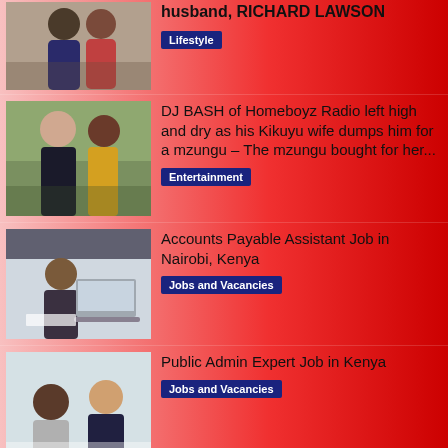[Figure (photo): Couple photo, man and woman posing together]
husband, RICHARD LAWSON
Lifestyle
[Figure (photo): Man and woman outdoors, woman in yellow dress]
DJ BASH of Homeboyz Radio left high and dry as his Kikuyu wife dumps him for a mzungu – The mzungu bought for her...
Entertainment
[Figure (photo): Person working at desk with laptop]
Accounts Payable Assistant Job in Nairobi, Kenya
Jobs and Vacancies
[Figure (photo): Two women in office setting, one smiling]
Public Admin Expert Job in Kenya
Jobs and Vacancies
[Figure (photo): Partial photo, bottom of page]
I will beat RAILA very early in the morning